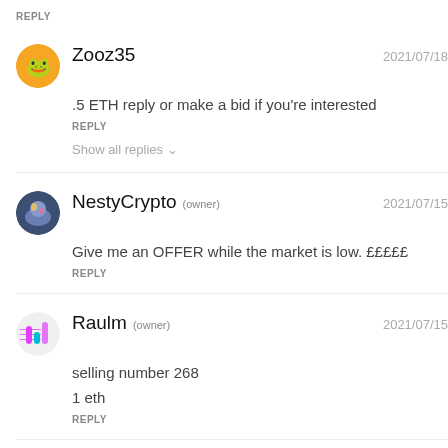REPLY
Zooz35 2021/07/18
.5 ETH reply or make a bid if you're interested
REPLY
Show all replies
NestyCrypto (owner) 2021/07/15
Give me an OFFER while the market is low. £££££
REPLY
Raulm (owner) 2021/07/15
selling number 268
1 eth
REPLY
Adrian_tr... 2021/06/3...